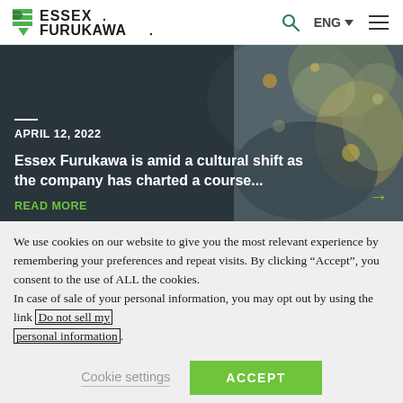Essex Furukawa | ENG | Search | Menu
[Figure (screenshot): Essex Furukawa website screenshot showing a hero image with abstract painted background, date 'APRIL 12, 2022', headline 'Essex Furukawa is amid a cultural shift as the company has charted a course...', and a 'READ MORE' link with a green arrow]
We use cookies on our website to give you the most relevant experience by remembering your preferences and repeat visits. By clicking “Accept”, you consent to the use of ALL the cookies. In case of sale of your personal information, you may opt out by using the link Do not sell my personal information.
Cookie settings | ACCEPT